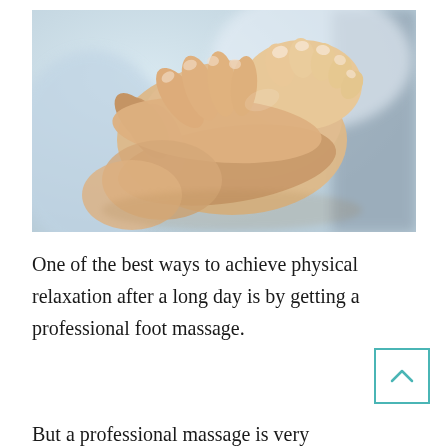[Figure (photo): Close-up photograph of hands giving a foot massage — one hand cupping the heel and another gripping the top of the foot near the toes, against a blurred light background.]
One of the best ways to achieve physical relaxation after a long day is by getting a professional foot massage.
But a professional massage is very